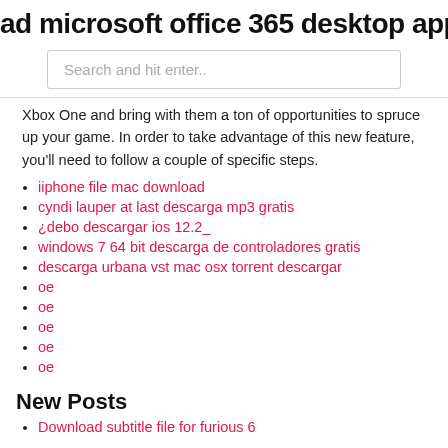ad microsoft office 365 desktop app
Search and hit enter..
Xbox One and bring with them a ton of opportunities to spruce up your game. In order to take advantage of this new feature, you'll need to follow a couple of specific steps.
iiphone file mac download
cyndi lauper at last descarga mp3 gratis
¿debo descargar ios 12.2_
windows 7 64 bit descarga de controladores gratis
descarga urbana vst mac osx torrent descargar
oe
oe
oe
oe
oe
New Posts
Download subtitle file for furious 6